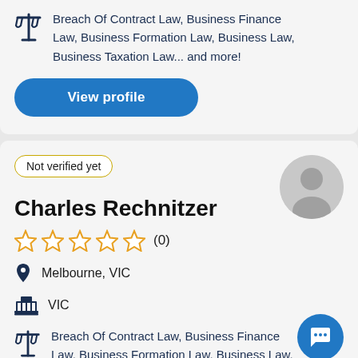Breach Of Contract Law, Business Finance Law, Business Formation Law, Business Law, Business Taxation Law... and more!
View profile
Not verified yet
Charles Rechnitzer
(0)
Melbourne, VIC
VIC
Breach Of Contract Law, Business Finance Law, Business Formation Law, Business Law,